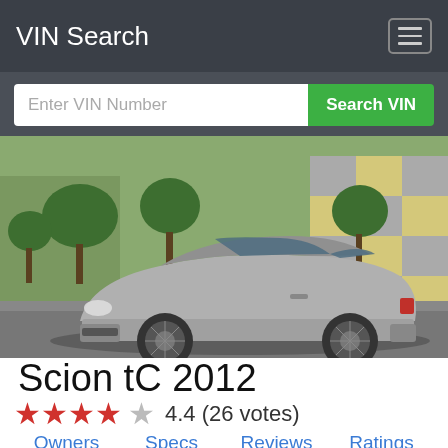VIN Search
Enter VIN Number  Search VIN
[Figure (photo): Silver Scion tC 2012 coupe parked in an urban setting with trees and a modern building in the background]
Scion tC 2012
★★★★☆ 4.4 (26 votes)
Owners
Specs
Reviews
Ratings
VINs
About SCION